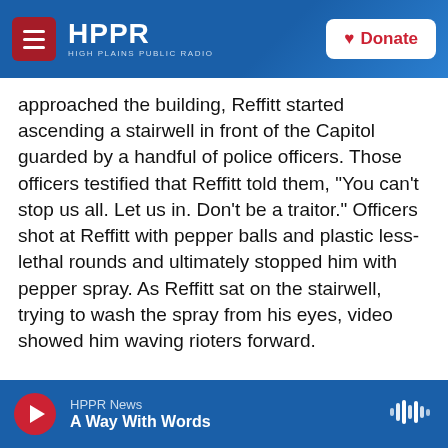HPPR — HIGH PLAINS PUBLIC RADIO | Donate
approached the building, Reffitt started ascending a stairwell in front of the Capitol guarded by a handful of police officers. Those officers testified that Reffitt told them, "You can't stop us all. Let us in. Don't be a traitor." Officers shot at Reffitt with pepper balls and plastic less-lethal rounds and ultimately stopped him with pepper spray. As Reffitt sat on the stairwell, trying to wash the spray from his eyes, video showed him waving rioters forward.
Reffitt did not enter the building himself or make physical contact with any police officers. But
HPPR News — A Way With Words